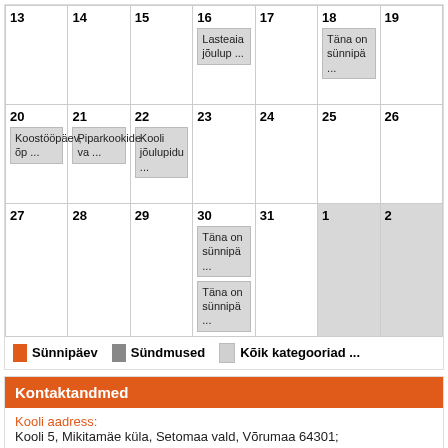| 13 | 14 | 15 | 16 | 17 | 18 | 19 |
| --- | --- | --- | --- | --- | --- | --- |
|  |  |  | Lasteaia jõulup ... |  | Täna on sünnipä ... |  |
| 20 Koostööpäev, õp ... | 21 Piparkookide va ... | 22 Kooli jõulupidu ... | 23 | 24 | 25 | 26 |
| 27 | 28 | 29 | 30 Täna on sünnipä ... / Täna on sünnipä ... | 31 | 1 | 2 |
Sünnipäev   Sündmused   Kõik kategooriad ...
Kontaktandmed
Kooli aadress:
Kooli 5, Mikitamäe küla, Setomaa vald, Võrumaa 64301;